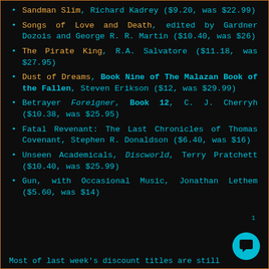Sandman Slim, Richard Kadrey ($9.20, was $22.99)
Songs of Love and Death, edited by Gardner Dozois and George R. R. Martin ($10.40, was $26)
The Pirate King, R.A. Salvatore ($11.18, was $27.95)
Dust of Dreams, Book Nine of The Malazan Book of the Fallen, Steven Erikson ($12, was $29.99)
Betrayer Foreigner, Book 12, C. J. Cherryh ($10.38, was $25.95)
Fatal Revenant: The Last Chronicles of Thomas Covenant, Stephen R. Donaldson ($6.40, was $16)
Unseen Academicals, Discworld, Terry Pratchett ($10.40, was $25.99)
Gun, with Occasional Music, Jonathan Lethem ($5.60, was $14)
1
Most of last week's discount titles are still